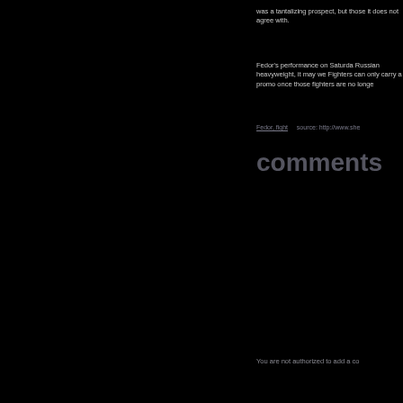was a tantalizing prospect, but those it does not agree with.
Fedor's performance on Saturday Russian heavyweight, it may we Fighters can only carry a promo once those fighters are no longe
Fedor, fight   source: http://www.sher
comments
You are not authorized to add a co